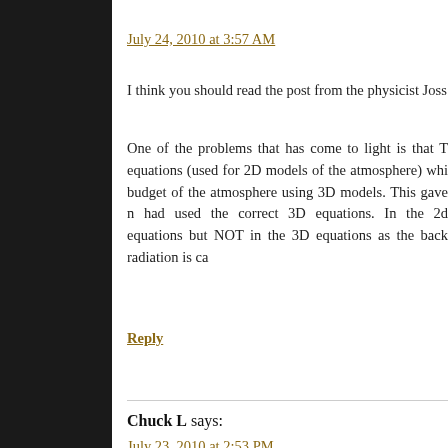July 24, 2010 at 3:57 AM
I think you should read the post from the physicist Joss
One of the problems that has come to light is that T equations (used for 2D models of the atmosphere) whi budget of the atmosphere using 3D models. This gave n had used the correct 3D equations. In the 2d equations but NOT in the 3D equations as the back radiation is ca
Reply
Chuck L says:
July 23, 2010 at 2:53 PM
Dr. Spencer, Thank you for the clear and understand misconceptions about the laws of thermodynamics as re effect. Can you discuss the other point which is always heating the atmosphere is logarithmic, i.e. the doub